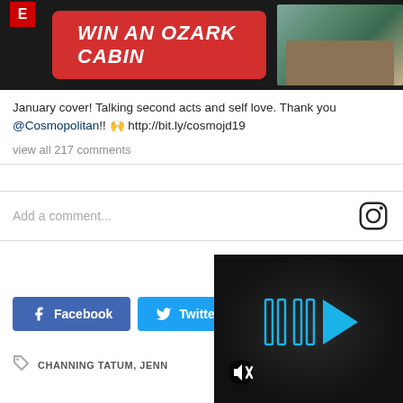[Figure (photo): Advertisement banner showing a red pill-shaped button with text 'WIN AN OZARK CABIN' and a photo of a cabin on dark background]
January cover! Talking second acts and self love. Thank you @Cosmopolitan!! 🙌 http://bit.ly/cosmojd19
view all 217 comments
Add a comment...
[Figure (screenshot): Social share buttons: Facebook and Twitter]
CHANNING TATUM, JENN...
[Figure (screenshot): Video player overlay with blue fast-forward/play icons and mute icon on dark background]